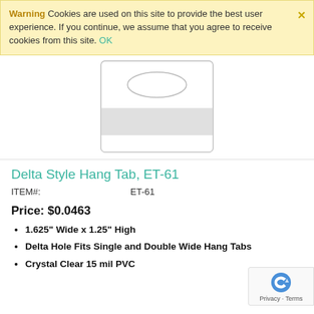Warning  Cookies are used on this site to provide the best user experience. If you continue, we assume that you agree to receive cookies from this site. OK
[Figure (illustration): Product illustration of a Delta Style Hang Tab (ET-61): a rectangular card with rounded corners, showing an oval/delta-shaped hole at the top center, and a gray shaded lower section representing adhesive area.]
Delta Style Hang Tab, ET-61
| ITEM#: | ET-61 |
Price: $0.0463
1.625" Wide x 1.25" High
Delta Hole Fits Single and Double Wide Hang Tabs
Crystal Clear 15 mil PVC